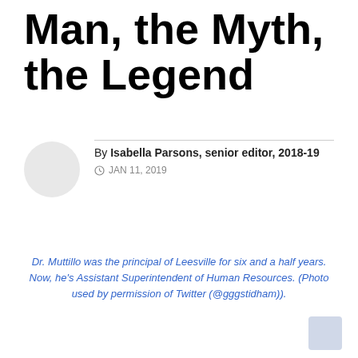Man, the Myth, the Legend
By Isabella Parsons, senior editor, 2018-19
JAN 11, 2019
[Figure (photo): Circular avatar placeholder (light gray circle) for author photo]
Dr. Muttillo was the principal of Leesville for six and a half years. Now, he's Assistant Superintendent of Human Resources. (Photo used by permission of Twitter (@gggstidham)).
[Figure (photo): Small square thumbnail placeholder in bottom right corner]